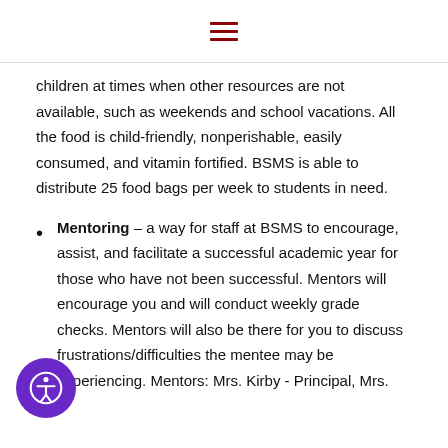≡
children at times when other resources are not available, such as weekends and school vacations. All the food is child-friendly, nonperishable, easily consumed, and vitamin fortified. BSMS is able to distribute 25 food bags per week to students in need.
Mentoring – a way for staff at BSMS to encourage, assist, and facilitate a successful academic year for those who have not been successful. Mentors will encourage you and will conduct weekly grade checks. Mentors will also be there for you to discuss frustrations/difficulties the mentee may be experiencing. Mentors: Mrs. Kirby - Principal, Mrs.
[Figure (illustration): Accessibility icon button — purple circle with a white person/accessibility symbol inside]